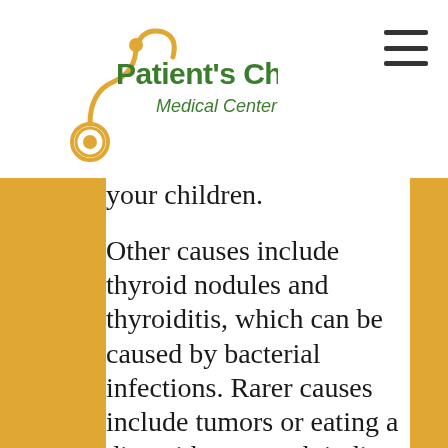[Figure (logo): Patient's Choice Medical Center logo with stethoscope graphic, green and gold text]
your children.
Other causes include thyroid nodules and thyroiditis, which can be caused by bacterial infections. Rarer causes include tumors or eating a diet with too much iodine. Diagnosis of hyperthyroiditis is by blood test, where your doctor can evaluate how much thyroid hormone your body is